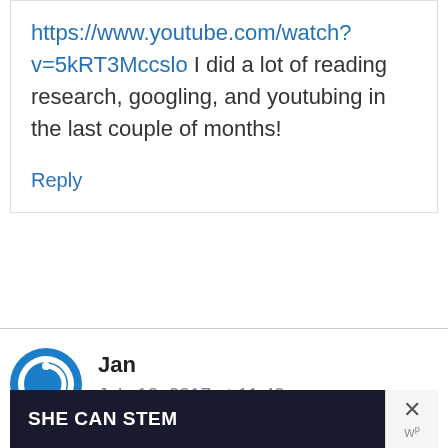https://www.youtube.com/watch?v=5kRT3Mccslo I did a lot of reading research, googling, and youtubing in the last couple of months!
Reply
Jan
July 10, 2017 at 11:49 am
[Figure (other): SHE CAN STEM advertisement banner with dark background and close button]